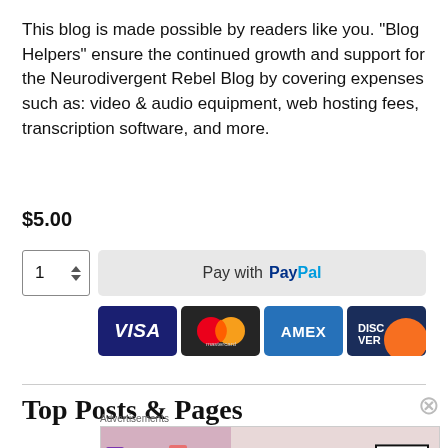This blog is made possible by readers like you. "Blog Helpers" ensure the continued growth and support for the Neurodivergent Rebel Blog by covering expenses such as: video & audio equipment, web hosting fees, transcription software, and more.
$5.00
[Figure (screenshot): Payment widget with quantity selector and PayPal button, plus Visa, Mastercard, Amex, and Discover card icons]
Top Posts & Pages
[Figure (photo): MAC cosmetics advertisement showing lipsticks with SHOP NOW button]